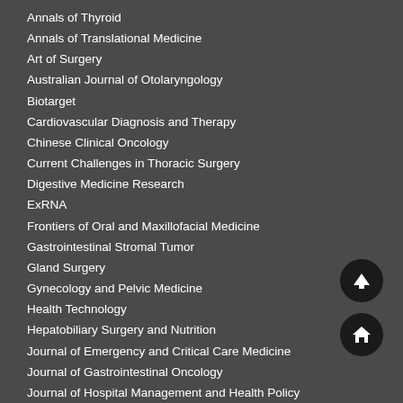Annals of Thyroid
Annals of Translational Medicine
Art of Surgery
Australian Journal of Otolaryngology
Biotarget
Cardiovascular Diagnosis and Therapy
Chinese Clinical Oncology
Current Challenges in Thoracic Surgery
Digestive Medicine Research
ExRNA
Frontiers of Oral and Maxillofacial Medicine
Gastrointestinal Stromal Tumor
Gland Surgery
Gynecology and Pelvic Medicine
Health Technology
Hepatobiliary Surgery and Nutrition
Journal of Emergency and Critical Care Medicine
Journal of Gastrointestinal Oncology
Journal of Hospital Management and Health Policy
Journal of Laboratory and Precision Medicine
Journal of Medical Artificial Intelligence
Journal of Oral and Maxillofacial Anesthesia